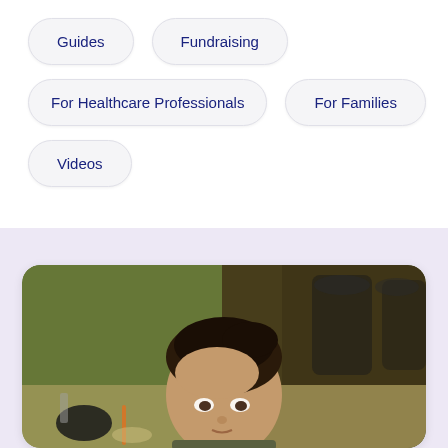Guides
Fundraising
For Healthcare Professionals
For Families
Videos
[Figure (photo): A young woman with dark hair pulled back, sitting at a restaurant or event table with dining items visible. The background shows chairs and a green wall. She is looking slightly upward toward the camera.]